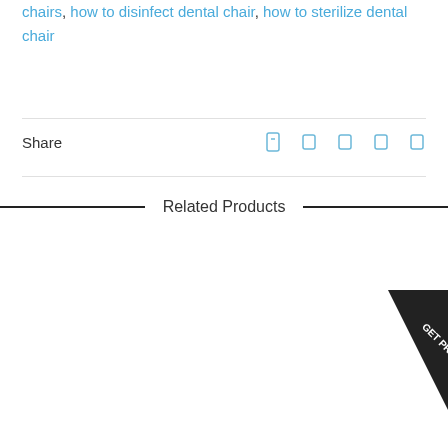chairs, how to disinfect dental chair, how to sterilize dental chair
Share
Related Products
[Figure (other): GET PRICE badge/ribbon in dark color on product image area]